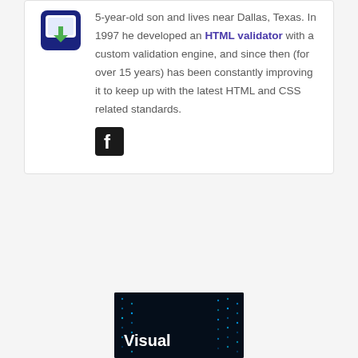5-year-old son and lives near Dallas, Texas. In 1997 he developed an HTML validator with a custom validation engine, and since then (for over 15 years) has been constantly improving it to keep up with the latest HTML and CSS related standards.
[Figure (logo): Facebook logo icon (white 'f' on black square with rounded corners)]
[Figure (photo): Dark blue tech background with blue glowing dots/matrix pattern and white text reading 'Visual']